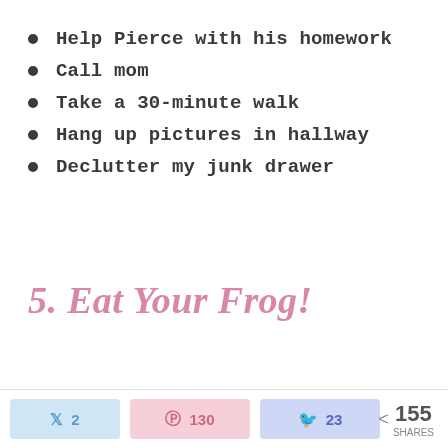Help Pierce with his homework
Call mom
Take a 30-minute walk
Hang up pictures in hallway
Declutter my junk drawer
5. Eat Your Frog!
2  130  23  < 155 SHARES